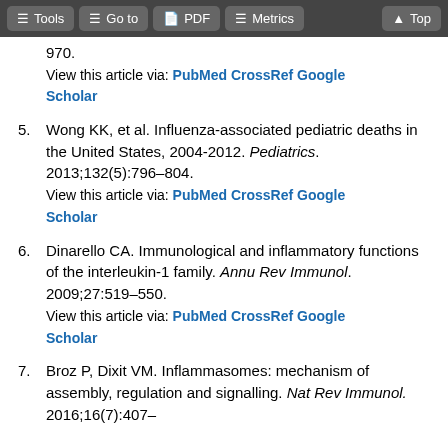Tools | Go to | PDF | Metrics | Top
970.
View this article via: PubMed CrossRef Google Scholar
5. Wong KK, et al. Influenza-associated pediatric deaths in the United States, 2004-2012. Pediatrics. 2013;132(5):796–804.
View this article via: PubMed CrossRef Google Scholar
6. Dinarello CA. Immunological and inflammatory functions of the interleukin-1 family. Annu Rev Immunol. 2009;27:519–550.
View this article via: PubMed CrossRef Google Scholar
7. Broz P, Dixit VM. Inflammasomes: mechanism of assembly, regulation and signalling. Nat Rev Immunol. 2016;16(7):407–...